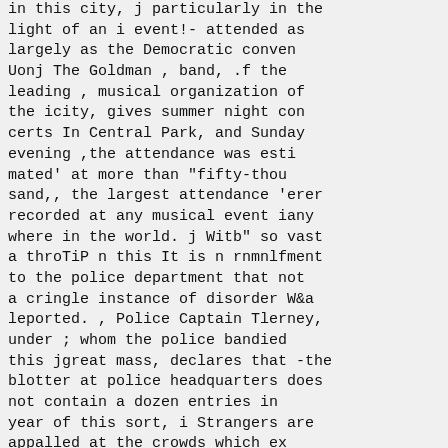in this city, j particularly in the light of an i event!- attended as largely as the Democratic conven Uonj The Goldman , band, .f the leading , musical organization of the icity, gives summer night con certs In Central Park, and Sunday evening ,the attendance was esti mated' at more than "fifty-thou sand,, the largest attendance 'erer recorded at any musical event iany where in the world. j Witb" so vast a throTiP n this It is n rnmnlfment to the police department that not a cringle instance of disorder W&a leported. , Police Captain Tlerney, under ; whom the police bandied this jgreat mass, declares that -the blotter at police headquarters does not contain a dozen entries in year of this sort, i Strangers are appalled at the crowds which ex tend for blocks . -of. seats, other blocks of slanders; brought, to terminus' by hundreds of automo